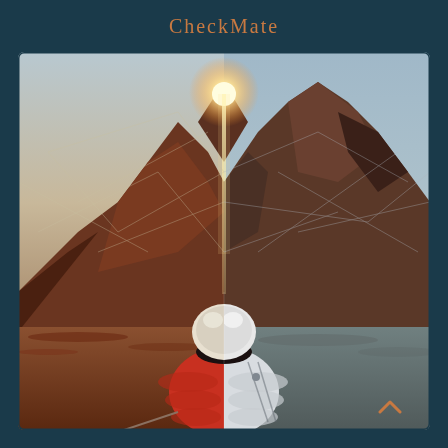CheckMate
[Figure (illustration): A composite illustration showing an astronaut/person viewed from behind, split down the middle — left side wearing a red/orange jacket in a Mars-like desert landscape, right side wearing a white spacesuit in a coastal rocky landscape. Both sides face toward a dramatic mountain peak with a bright sunburst/light beam shooting upward from the summit. Geometric web-like lines overlay the mountain scene.]